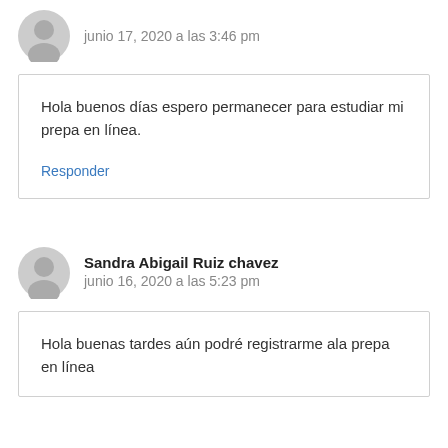junio 17, 2020 a las 3:46 pm
Hola buenos días espero permanecer para estudiar mi prepa en línea.
Responder
Sandra Abigail Ruiz chavez
junio 16, 2020 a las 5:23 pm
Hola buenas tardes aún podré registrarme ala prepa en línea